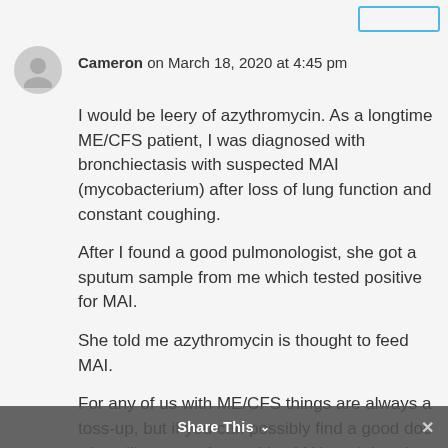[Figure (other): Top-right UI button outline in blue]
Cameron on March 18, 2020 at 4:45 pm
I would be leery of azythromycin. As a longtime ME/CFS patient, I was diagnosed with bronchiectasis with suspected MAI (mycobacterium) after loss of lung function and constant coughing.
After I found a good pulmonologist, she got a sputum sample from me which tested positive for MAI.
She told me azythromycin is thought to feed MAI.
For any of us with ME/CFS things are always a toss-up, but if you can possibly find a good doc who will test you for positive MAI, and thereby
Share This ∨  ×